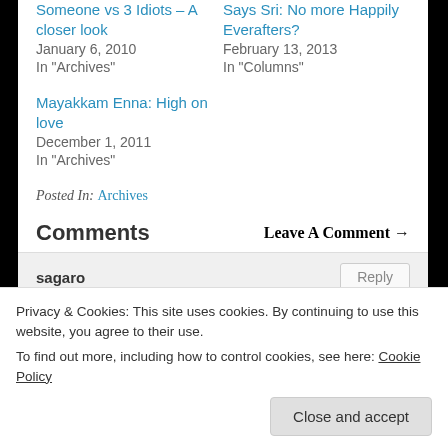Someone vs 3 Idiots – A closer look
January 6, 2010
In "Archives"
Says Sri: No more Happily Everafters?
February 13, 2013
In "Columns"
Mayakkam Enna: High on love
December 1, 2011
In "Archives"
Posted In: Archives
Comments
Leave A Comment →
sagaro
Privacy & Cookies: This site uses cookies. By continuing to use this website, you agree to their use.
To find out more, including how to control cookies, see here: Cookie Policy
Close and accept